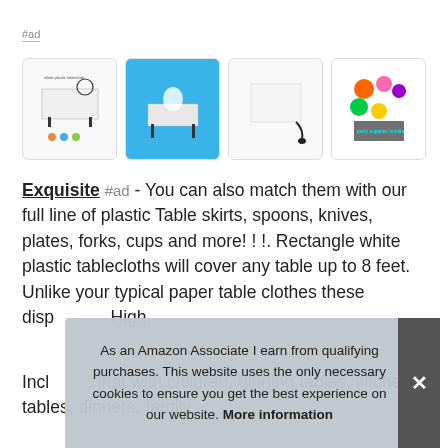#ad
[Figure (photo): Four product images showing white plastic tablecloths and party supplies]
Exquisite #ad - You can also match them with our full line of plastic Table skirts, spoons, knives, plates, forks, cups and more!!!. Rectangle white plastic tablecloths will cover any table up to 8 feet. Unlike your typical paper table clothes these disp... High...
Incl... that... with children, dinning tables, kitchen tables, dinners, family...
As an Amazon Associate I earn from qualifying purchases. This website uses the only necessary cookies to ensure you get the best experience on our website. More information